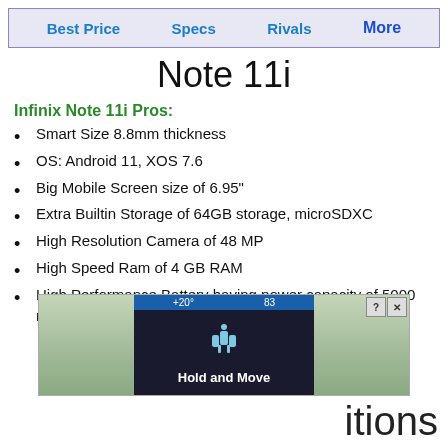Best Price  Specs  Rivals  More
Note 11i
Infinix Note 11i Pros:
Smart Size 8.8mm thickness
OS: Android 11, XOS 7.6
Big Mobile Screen size of 6.95"
Extra Builtin Storage of 64GB storage, microSDXC
High Resolution Camera of 48 MP
High Speed Ram of 4 GB RAM
High Performance Battery having power capacity of 5000 mAh
[Figure (screenshot): Advertisement banner with 'Hold and Move' overlay on a nature/outdoor background with trees]
stions